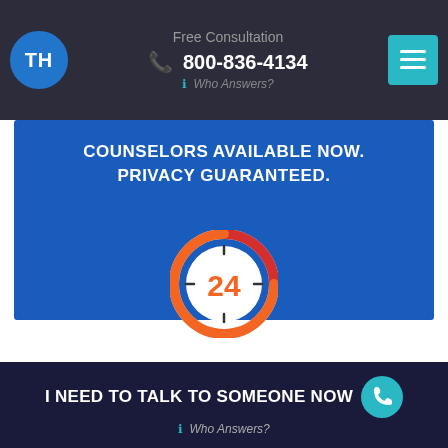Free Consultation 800-836-4134 Who Answers?
COUNSELORS AVAILABLE NOW. PRIVACY GUARANTEED.
[Figure (illustration): 24-hour clock icon with red and orange ring, showing the number 24 in orange, on a blue background banner]
[Figure (photo): Interior room photo (local rehab facility) with text overlay: LOCAL REHABS IN YOUR AREA. and a medical cross/location icon below]
I NEED TO TALK TO SOMEONE NOW  Who Answers?